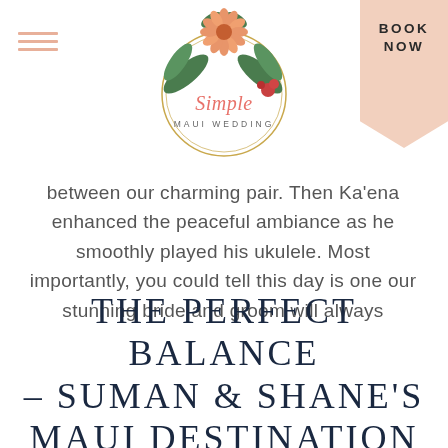[Figure (logo): Simple Maui Wedding logo — circular gold frame with tropical floral arrangement (protea, palm leaves, berries) and cursive 'Simple' text with 'MAUI WEDDING' underneath]
BOOK NOW
between our charming pair. Then Ka’ena enhanced the peaceful ambiance as he smoothly played his ukulele. Most importantly, you could tell this day is one our stunning bride and groom will always
THE PERFECT BALANCE – SUMAN & SHANE’S MAUI DESTINATION WEDDING